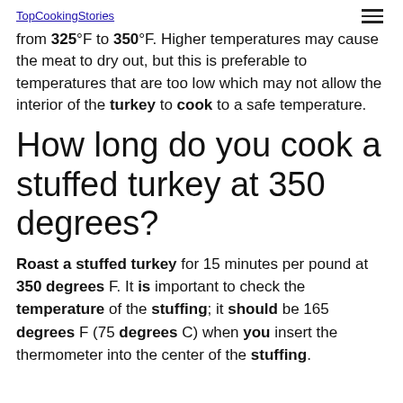TopCookingStories
from 325°F to 350°F. Higher temperatures may cause the meat to dry out, but this is preferable to temperatures that are too low which may not allow the interior of the turkey to cook to a safe temperature.
How long do you cook a stuffed turkey at 350 degrees?
Roast a stuffed turkey for 15 minutes per pound at 350 degrees F. It is important to check the temperature of the stuffing; it should be 165 degrees F (75 degrees C) when you insert the thermometer into the center of the stuffing.